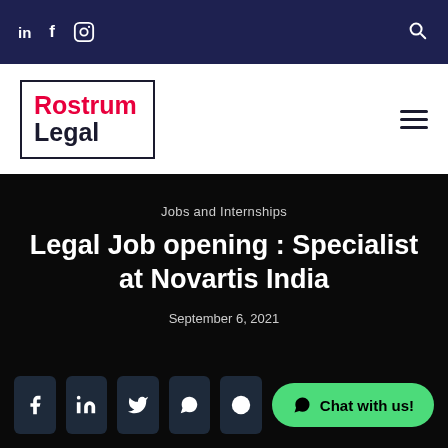in  f  [instagram]  [search]
[Figure (logo): Rostrum Legal logo — 'Rostrum' in red, 'Legal' in dark navy, inside a rectangular border]
Jobs and Internships
Legal Job opening : Specialist at Novartis India
September 6, 2021
[Figure (infographic): Social share buttons: Facebook, LinkedIn, Twitter, WhatsApp, and another icon; plus a green 'Chat with us!' WhatsApp button on the right]